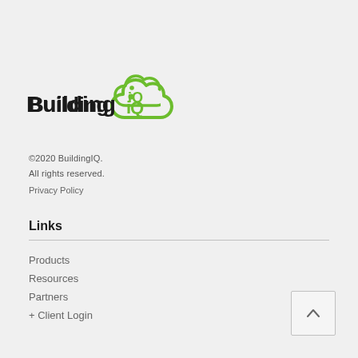[Figure (logo): BuildingIQ logo with green cloud icon and bold dark text]
©2020 BuildingIQ.
All rights reserved.
Privacy Policy
Links
Products
Resources
Partners
+ Client Login
[Figure (other): Back to top button with upward chevron arrow]